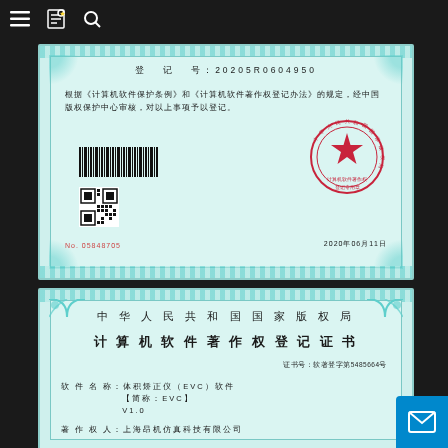[Figure (photo): Bottom portion of a Chinese Computer Software Copyright Registration Certificate showing registration number 2020SR0604950, barcode, QR code, official red seal of the National Copyright Administration (计算机软件著作权登记专用章), No. 05848705, date 2020年06月11日]
[Figure (photo): Top portion of a second Chinese Computer Software Copyright Registration Certificate issued by the National Copyright Administration of the People's Republic of China (中华人民共和国国家版权局). Title: 计算机软件著作权登记证书. Certificate number: 软著登字第5485664号. Software name: 体积矫正仪（EVC）软件【简称：EVC】V1.0. Registrant: 上海昂机仿真科技有限公司]